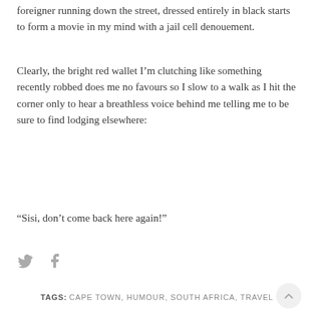foreigner running down the street, dressed entirely in black starts to form a movie in my mind with a jail cell denouement.
Clearly, the bright red wallet I’m clutching like something recently robbed does me no favours so I slow to a walk as I hit the corner only to hear a breathless voice behind me telling me to be sure to find lodging elsewhere:
“Sisi, don’t come back here again!”
TAGS: CAPE TOWN, HUMOUR, SOUTH AFRICA, TRAVEL